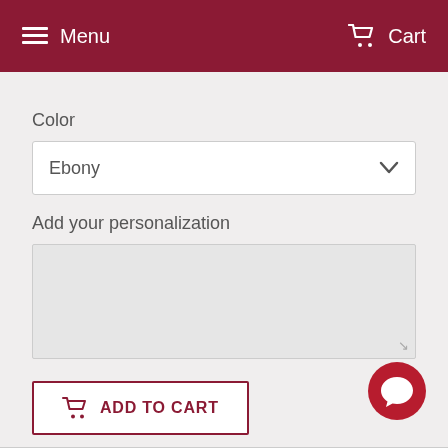Menu  Cart
Color
Ebony
Add your personalization
ADD TO CART
[Figure (other): Chat bubble icon in bottom right corner]